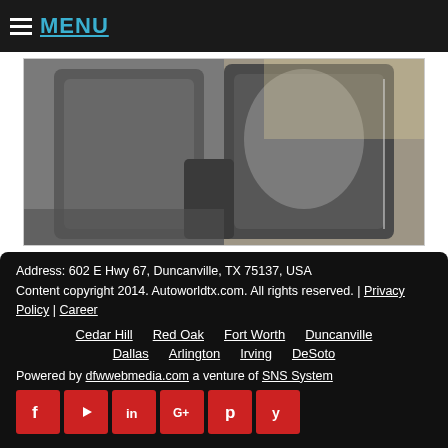MENU
[Figure (photo): Interior photo of a vehicle showing gray leather seats and dashboard area]
Address: 602 E Hwy 67, Duncanville, TX 75137, USA
Content copyright 2014. Autoworldtx.com. All rights reserved. | Privacy Policy | Career
Cedar Hill   Red Oak   Fort Worth   Duncanville
Dallas   Arlington   Irving   DeSoto
Powered by dfwwebmedia.com a venture of SNS System